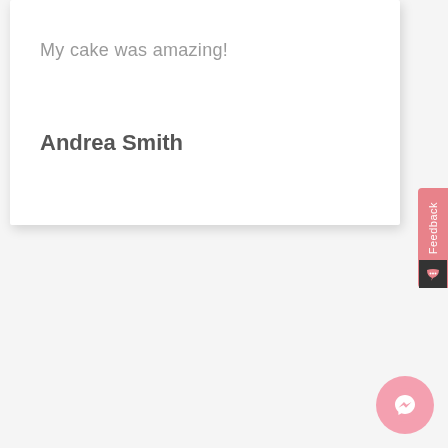My cake was amazing!
Andrea Smith
Feedback
[Figure (illustration): Pink circular Messenger chat button icon at bottom right]